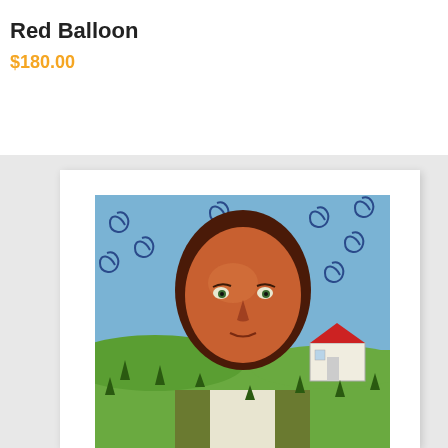Red Balloon
$180.00
[Figure (illustration): Folk art style painting of a large-faced figure with brown skin and dark hair, set against a blue swirling sky background. In the lower right is a small white house with a red roof, and rolling green hills with small plants. The figure wears a green vest and white shirt.]